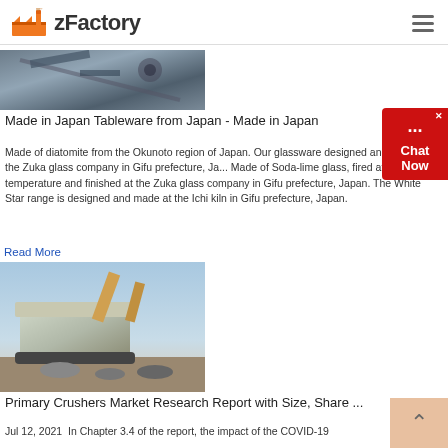zFactory
[Figure (photo): Industrial machinery / factory equipment photo, partially visible at top]
Made in Japan Tableware from Japan - Made in Japan
Made of diatomite from the Okunoto region of Japan. Our glassware designed and made at the Zuka glass company in Gifu prefecture, Ja... Made of Soda-lime glass, fired at a high temperature and finished at the Zuka glass company in Gifu prefecture, Japan. The White Star range is designed and made at the Ichi kiln in Gifu prefecture, Japan.
Read More
[Figure (photo): Primary crusher / heavy construction machinery in outdoor setting]
Primary Crushers Market Research Report with Size, Share ...
Jul 12, 2021  In Chapter 3.4 of the report, the impact of the COVID-19